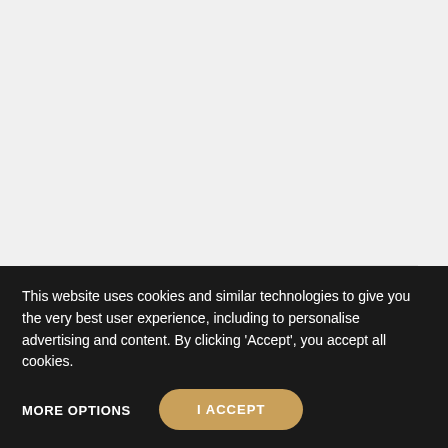Mia Glad
Manager
Pozioi 1g, 52470 Umag
GSM: 091 784 8083
Phone: +385 91 784 80 83
office@artliving-realestate.hr
This website uses cookies and similar technologies to give you the very best user experience, including to personalise advertising and content. By clicking 'Accept', you accept all cookies.
MORE OPTIONS
I ACCEPT